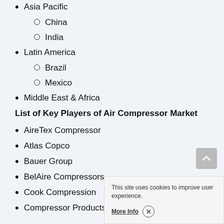Asia Pacific
China
India
Latin America
Brazil
Mexico
Middle East & Africa
List of Key Players of Air Compressor Market
AireTex Compressor
Atlas Copco
Bauer Group
BelAire Compressors
Cook Compression
Compressor Products International (CPI)
This site uses cookies to improve user experience. More Info ×